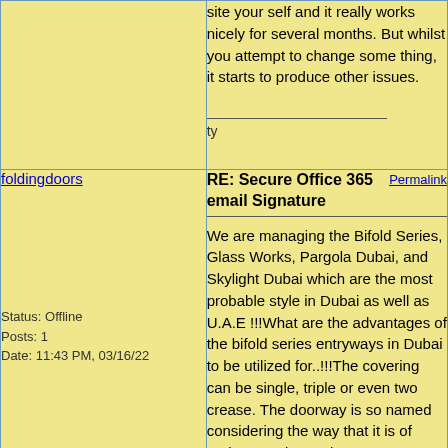site your self and it really works nicely for several months. But whilst you attempt to change some thing, it starts to produce other issues.
ty
foldingdoors
Status: Offline
Posts: 1
Date: 11:43 PM, 03/16/22
RE: Secure Office 365 email Signature
Permalink
We are managing the Bifold Series, Glass Works, Pargola Dubai, and Skylight Dubai which are the most probable style in Dubai as well as U.A.E !!!What are the advantages of the bifold series entryways in Dubai to be utilized for..!!!The covering can be single, triple or even two crease. The doorway is so named considering the way that it is of regions or sheets that cross-over against one